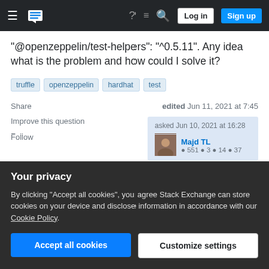Stack Exchange navigation bar with hamburger menu, logo, help, chat, search icons, Log in and Sign up buttons
"@openzeppelin/test-helpers": "^0.5.11". Any idea what is the problem and how could I solve it?
truffle
openzeppelin
hardhat
test
Share
edited Jun 11, 2021 at 7:45
Improve this question
Follow
asked Jun 10, 2021 at 16:28
Majd TL
Your privacy
By clicking "Accept all cookies", you agree Stack Exchange can store cookies on your device and disclose information in accordance with our Cookie Policy.
Accept all cookies
Customize settings